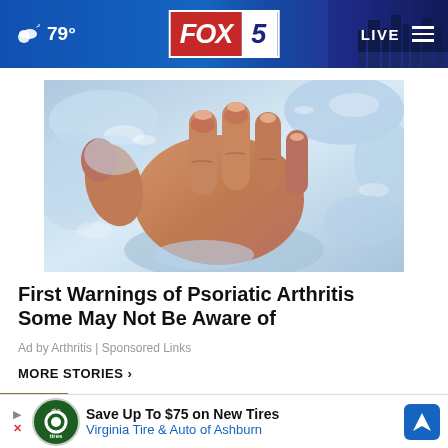☁ 79° | FOX 5 | LIVE
[Figure (photo): A human hand pressed against ice cubes, showing reddened skin and inflammation, illustrating psoriatic arthritis symptoms]
First Warnings of Psoriatic Arthritis Some May Not Be Aware of
Ad by Arthritis | Sponsored Links
MORE STORIES ›
[Figure (screenshot): Bottom strip showing a thumbnail image and partial story text, with a close button overlay]
[Figure (other): Advertisement banner: Save Up To $75 on New Tires – Virginia Tire & Auto of Ashburn, with Tires Plus logo and navigation icon]